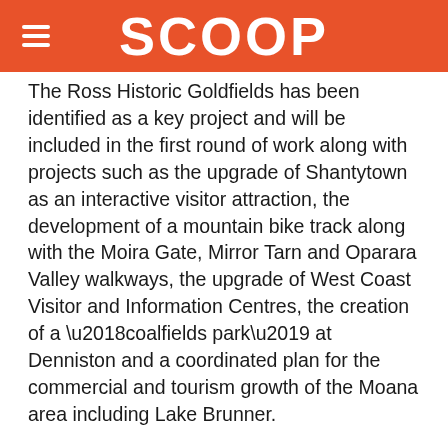SCOOP
The Ross Historic Goldfields has been identified as a key project and will be included in the first round of work along with projects such as the upgrade of Shantytown as an interactive visitor attraction, the development of a mountain bike track along with the Moira Gate, Mirror Tarn and Oparara Valley walkways, the upgrade of West Coast Visitor and Information Centres, the creation of a ‘coalfields park’ at Denniston and a coordinated plan for the commercial and tourism growth of the Moana area including Lake Brunner.
The West Coast Development Trust in partnership with NZ Trade and Enterprise, Tourism West Coast, Department of Conversation and Te Runanga o Ngai Tahu is managing the regional initiative which has received funding to the tune of $2m from NZTE and $2.5 from the West Coast Development Trust along with funding committed from the Department of